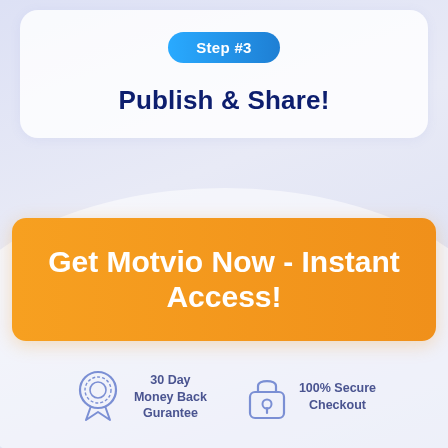Step #3
Publish & Share!
Get Motvio Now - Instant Access!
30 Day Money Back Gurantee
100% Secure Checkout